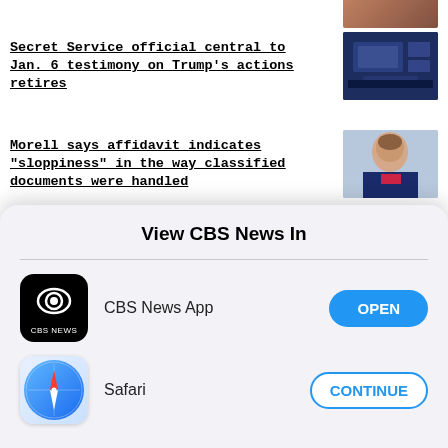[Figure (photo): Partial thumbnail image at top right, cropped]
Secret Service official central to Jan. 6 testimony on Trump's actions retires
[Figure (photo): Thumbnail image of a hearing room with screens]
Morell says affidavit indicates "sloppiness" in the way classified documents were handled
[Figure (photo): Thumbnail image of a man in suit (Morell)]
FBI agents complete review of Mar-a-Lago documents
[Figure (photo): Thumbnail aerial image of Mar-a-Lago]
View CBS News In
CBS News App
Safari